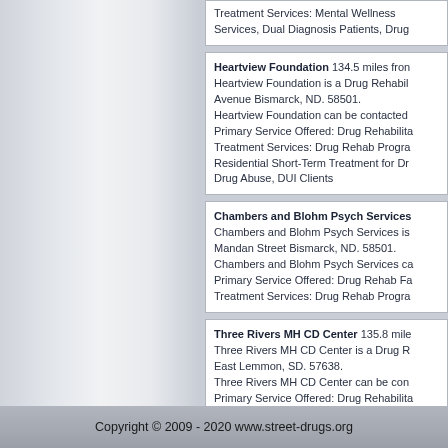Treatment Services: Mental Wellness Services, Dual Diagnosis Patients, Drug...
Heartview Foundation 134.5 miles from... Heartview Foundation is a Drug Rehabilitation... Avenue Bismarck, ND. 58501. Heartview Foundation can be contacted... Primary Service Offered: Drug Rehabilitation... Treatment Services: Drug Rehab Programs, Residential Short-Term Treatment for Drug Abuse, DUI Clients
Chambers and Blohm Psych Services... Chambers and Blohm Psych Services is... Mandan Street Bismarck, ND. 58501. Chambers and Blohm Psych Services ca... Primary Service Offered: Drug Rehab Fa... Treatment Services: Drug Rehab Progra...
Three Rivers MH CD Center 135.8 mile... Three Rivers MH CD Center is a Drug R... East Lemmon, SD. 57638. Three Rivers MH CD Center can be con... Primary Service Offered: Drug Rehabilitation... Treatment Services: Mental Wellness Se... Patients
Copyright © 2009 - 2020 www.street-drugs.org